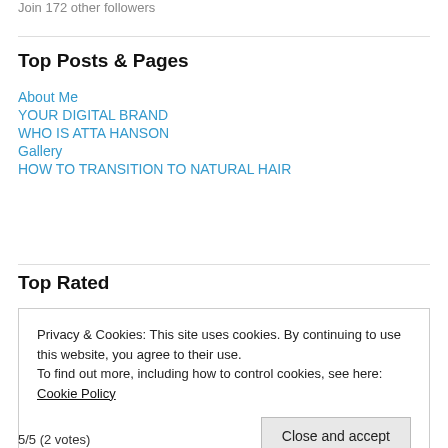Join 172 other followers
Top Posts & Pages
About Me
YOUR DIGITAL BRAND
WHO IS ATTA HANSON
Gallery
HOW TO TRANSITION TO NATURAL HAIR
Top Rated
Privacy & Cookies: This site uses cookies. By continuing to use this website, you agree to their use.
To find out more, including how to control cookies, see here: Cookie Policy
Close and accept
5/5 (2 votes)